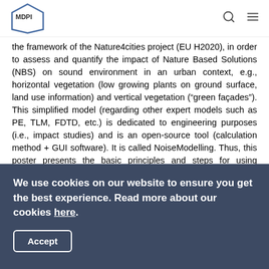MDPI
the framework of the Nature4cities project (EU H2020), in order to assess and quantify the impact of Nature Based Solutions (NBS) on sound environment in an urban context, e.g., horizontal vegetation (low growing plants on ground surface, land use information) and vertical vegetation (“green façades”). This simplified model (regarding other expert models such as PE, TLM, FDTD, etc.) is dedicated to engineering purposes (i.e., impact studies) and is an open-source tool (calculation method + GUI software). It is called NoiseModelling. Thus, this poster presents the basic principles and steps for using NoiseModelling (issued from easily reachable documentation), next introduces a case study (on a district of Nantes city, France) and then gives
We use cookies on our website to ensure you get the best experience. Read more about our cookies here.
Accept